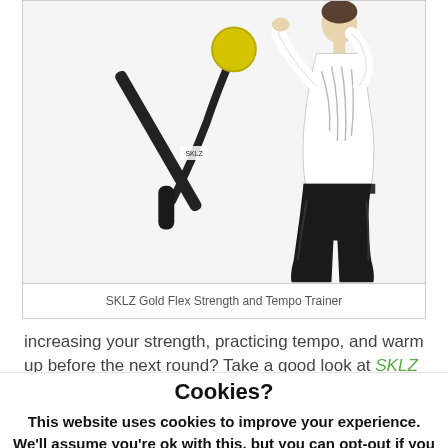[Figure (photo): Product photo of SKLZ Gold Flex Strength and Tempo Trainer — a flexible training aid with a yellow weighted ball at the top, and a golfer swinging in follow-through position wearing a white shirt and black pants.]
SKLZ Gold Flex Strength and Tempo Trainer
increasing your strength, practicing tempo, and warm up before the next round? Take a good look at SKLZ
Cookies?
This website uses cookies to improve your experience. We'll assume you're ok with this, but you can opt-out if you wish.